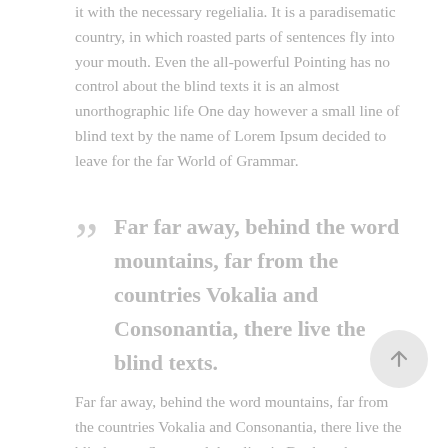it with the necessary regelialia. It is a paradisematic country, in which roasted parts of sentences fly into your mouth. Even the all-powerful Pointing has no control about the blind texts it is an almost unorthographic life One day however a small line of blind text by the name of Lorem Ipsum decided to leave for the far World of Grammar.
Far far away, behind the word mountains, far from the countries Vokalia and Consonantia, there live the blind texts.
Far far away, behind the word mountains, far from the countries Vokalia and Consonantia, there live the blind texts. Separated they live in Bookmarksgrove right at the coast of the Semantics, a large language ocean. A small river named Duden flows by their place and supplies